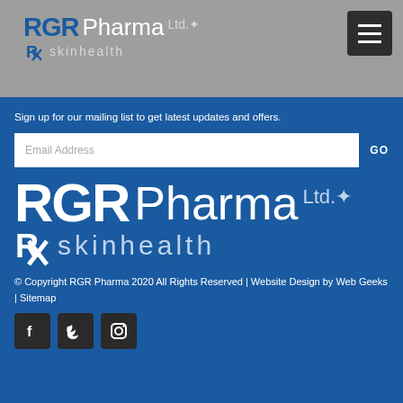[Figure (logo): RGR Pharma Ltd. skinhealth logo in header on grey background with hamburger menu button]
Sign up for our mailing list to get latest updates and offers.
[Figure (other): Email Address input field with GO button]
[Figure (logo): Large RGR Pharma Ltd. skinhealth logo in white on blue background]
© Copyright RGR Pharma 2020 All Rights Reserved | Website Design by Web Geeks | Sitemap
[Figure (other): Social media icons: Facebook, Twitter, Instagram]